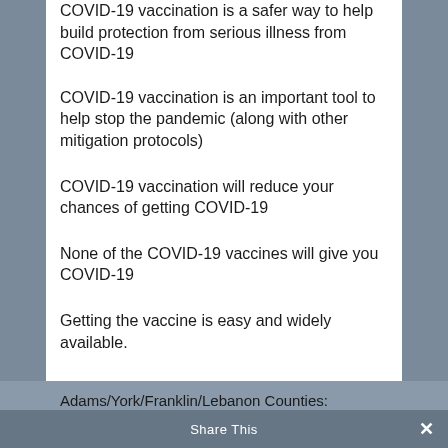COVID-19 vaccination is a safer way to help build protection from serious illness from COVID-19
COVID-19 vaccination is an important tool to help stop the pandemic (along with other mitigation protocols)
COVID-19 vaccination will reduce your chances of getting COVID-19
None of the COVID-19 vaccines will give you COVID-19
Getting the vaccine is easy and widely available.
Adams/York/Franklin/Lebanon Counties:
Share This